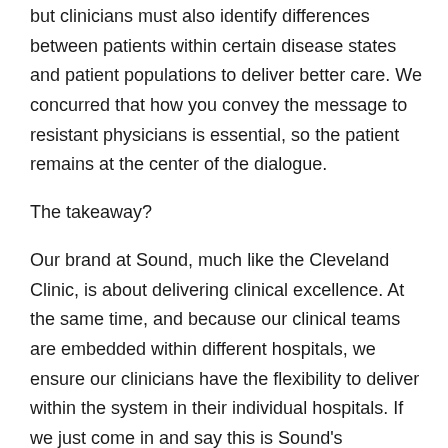but clinicians must also identify differences between patients within certain disease states and patient populations to deliver better care. We concurred that how you convey the message to resistant physicians is essential, so the patient remains at the center of the dialogue.
The takeaway?
Our brand at Sound, much like the Cleveland Clinic, is about delivering clinical excellence. At the same time, and because our clinical teams are embedded within different hospitals, we ensure our clinicians have the flexibility to deliver within the system in their individual hospitals. If we just come in and say this is Sound's framework, we will inevitably fail more times than we succeed. Sound has to be cognizant of the environment we're working in and ensure our model is flexible enough to meet the needs of our patients, the